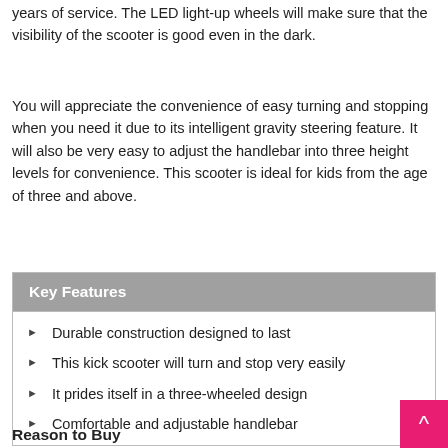years of service. The LED light-up wheels will make sure that the visibility of the scooter is good even in the dark.
You will appreciate the convenience of easy turning and stopping when you need it due to its intelligent gravity steering feature. It will also be very easy to adjust the handlebar into three height levels for convenience. This scooter is ideal for kids from the age of three and above.
Key Features
Durable construction designed to last
This kick scooter will turn and stop very easily
It prides itself in a three-wheeled design
Comfortable and adjustable handlebar
Reason to Buy